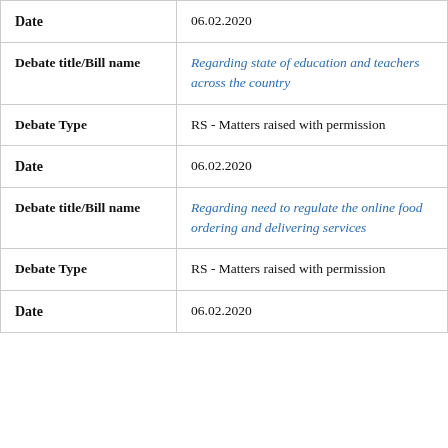| Date | 06.02.2020 |
| Debate title/Bill name | Regarding state of education and teachers across the country |
| Debate Type | RS - Matters raised with permission |
| Date | 06.02.2020 |
| Debate title/Bill name | Regarding need to regulate the online food ordering and delivering services |
| Debate Type | RS - Matters raised with permission |
| Date | 06.02.2020 |